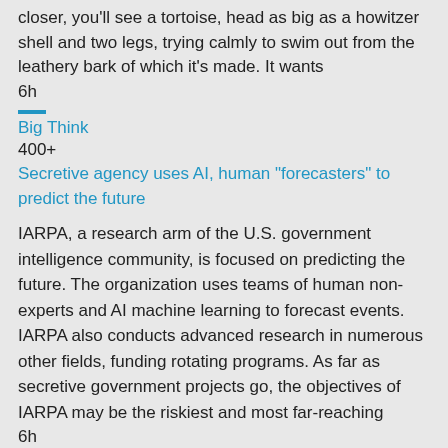closer, you'll see a tortoise, head as big as a howitzer shell and two legs, trying calmly to swim out from the leathery bark of which it's made. It wants
6h
Big Think
400+
Secretive agency uses AI, human "forecasters" to predict the future
IARPA, a research arm of the U.S. government intelligence community, is focused on predicting the future. The organization uses teams of human non-experts and AI machine learning to forecast events. IARPA also conducts advanced research in numerous other fields, funding rotating programs. As far as secretive government projects go, the objectives of IARPA may be the riskiest and most far-reaching
6h